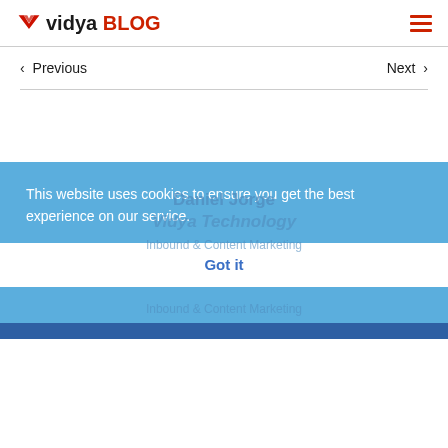vidya BLOG
< Previous
Next >
This website uses cookies to ensure you get the best experience on our service.
Got it
Daniel Jorge
Vidya Technology
Inbound & Content Marketing